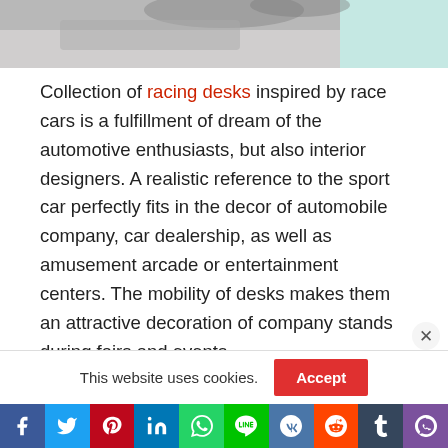[Figure (photo): Top portion of a photo showing what appears to be a racing desk or car-inspired furniture item, partially cropped]
Collection of racing desks inspired by race cars is a fulfillment of dream of the automotive enthusiasts, but also interior designers. A realistic reference to the sport car perfectly fits in the decor of automobile company, car dealership, as well as amusement arcade or entertainment centers. The mobility of desks makes them an attractive decoration of company stands during fairs and events.
This website uses cookies. Accept